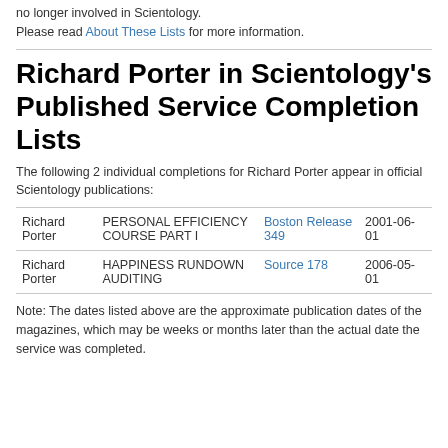no longer involved in Scientology.
Please read About These Lists for more information.
Richard Porter in Scientology's Published Service Completion Lists
The following 2 individual completions for Richard Porter appear in official Scientology publications:
|  |  |  |  |
| --- | --- | --- | --- |
| Richard Porter | PERSONAL EFFICIENCY COURSE PART I | Boston Release 349 | 2001-06-01 |
| Richard Porter | HAPPINESS RUNDOWN AUDITING | Source 178 | 2006-05-01 |
Note: The dates listed above are the approximate publication dates of the magazines, which may be weeks or months later than the actual date the service was completed.